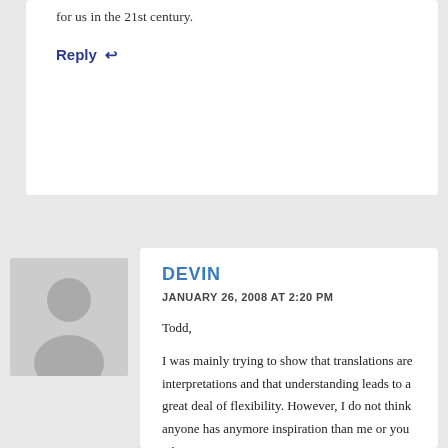for us in the 21st century.
Reply ↩
[Figure (illustration): Generic user avatar placeholder — grey silhouette of a person on a light grey background]
DEVIN
JANUARY 26, 2008 AT 2:20 PM
Todd,

I was mainly trying to show that translations are interpretations and that understanding leads to a great deal of flexibility. However, I do not think anyone has anymore inspiration than me or you when it comes to a correct interpretation. Revelation and thus scripture are a subjective, contextual experience. That's the way it was in the past, is today, and will be in the future. Our voices whether in line with leaders or not will certainly